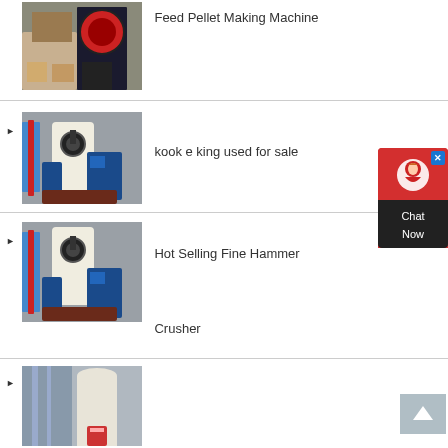[Figure (photo): Industrial machinery in a factory - Feed Pellet Making Machine]
Feed Pellet Making Machine
[Figure (photo): Industrial milling/grinding machine in factory - kook e king used for sale]
kook e king used for sale
[Figure (photo): Industrial milling/grinding machine in factory - Hot Selling Fine Hammer Crusher]
Hot Selling Fine Hammer
Crusher
[Figure (photo): Partial view of industrial equipment at bottom of page]